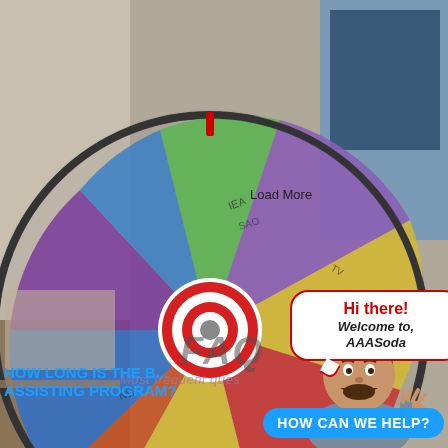[Figure (photo): A spinning colorful prize wheel with multiple colored segments (green, purple, yellow, red, blue, orange) mounted on a stand in an office setting. The wheel is blurred suggesting it is spinning. Text visible includes 'Load More' and 'FAQ' overlaid on the wheel.]
Load More
FAQ
Most frequent ques
[Figure (illustration): Cartoon Bitmoji-style avatar of a man with beard, wearing a grey shirt labeled AAA, waving. A speech bubble reads: Hi there! Welcome to, AAASoda]
Hi there!
Welcome to,
AAASoda
HOW LONG IS THE B... ASSISTING PROGRAM?
HOW CAN WE HELP?